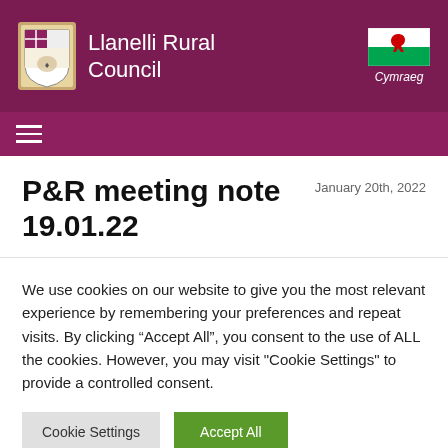Llanelli Rural Council
P&R meeting note 19.01.22
January 20th, 2022
We use cookies on our website to give you the most relevant experience by remembering your preferences and repeat visits. By clicking “Accept All”, you consent to the use of ALL the cookies. However, you may visit "Cookie Settings" to provide a controlled consent.
Cookie Settings | Accept All